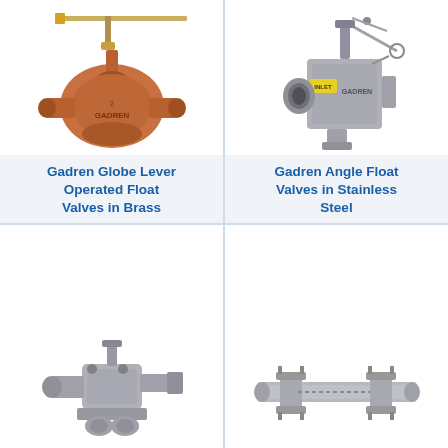[Figure (photo): Gadren Globe Lever Operated Float Valve in Brass - bronze/copper colored globe valve with lever arm mechanism on top, GADREN branding on body]
Gadren Globe Lever Operated Float Valves in Brass
[Figure (photo): Gadren Angle Float Valve in Stainless Steel - silver/chrome colored angle valve with float arm mechanism, INLET label visible, GADREN branding on body]
Gadren Angle Float Valves in Stainless Steel
[Figure (photo): Gadren valve product - stainless steel compact valve assembly with multiple components visible]
[Figure (photo): Gadren valve product - stainless steel pipe-mounted valve assembly extending horizontally]